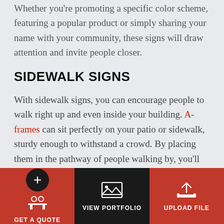Whether you're promoting a specific color scheme, featuring a popular product or simply sharing your name with your community, these signs will draw attention and invite people closer.
SIDEWALK SIGNS
With sidewalk signs, you can encourage people to walk right up and even inside your building. A-frames can sit perfectly on your patio or sidewalk, sturdy enough to withstand a crowd. By placing them in the pathway of people walking by, you'll gain endless attention.
SHOULD YOU ADD
GET A QUOTE | VIEW PORTFOLIO | UPLOAD FILE